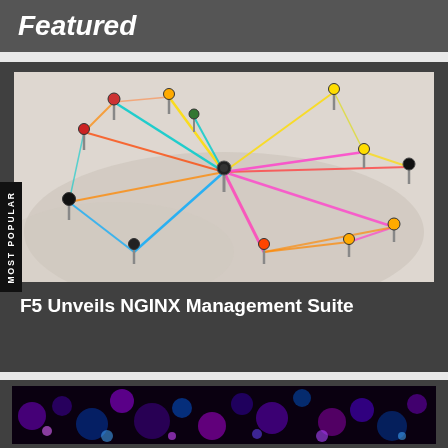Featured
[Figure (photo): Network of colorful pins connected by strings on a light background, representing connectivity]
F5 Unveils NGINX Management Suite
[Figure (photo): Bokeh lights in purple and blue tones, dark technology background]